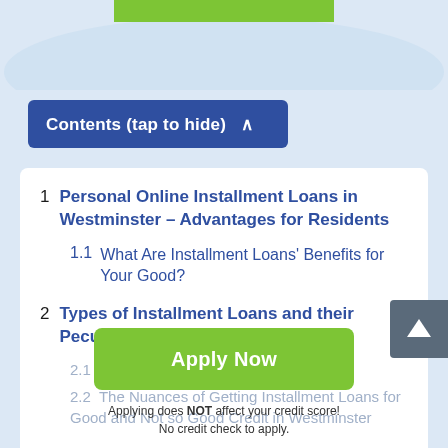[Figure (screenshot): Top decorative green bar and light blue arc background element]
Contents (tap to hide) ^
1  Personal Online Installment Loans in Westminster – Advantages for Residents
1.1  What Are Installment Loans' Benefits for Your Good?
2  Types of Installment Loans and their Peculiarities
2.1  Benefits One Couldn't Decline
2.2  The Nuances of Getting Installment Loans for Good and Not so Good Credit in Westminster
Apply Now
Applying does NOT affect your credit score! No credit check to apply.